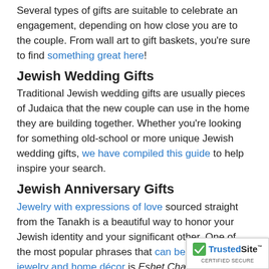Several types of gifts are suitable to celebrate an engagement, depending on how close you are to the couple. From wall art to gift baskets, you're sure to find something great here!
Jewish Wedding Gifts
Traditional Jewish wedding gifts are usually pieces of Judaica that the new couple can use in the home they are building together. Whether you're looking for something old-school or more unique Jewish wedding gifts, we have compiled this guide to help inspire your search.
Jewish Anniversary Gifts
Jewelry with expressions of love sourced straight from the Tanakh is a beautiful way to honor your Jewish identity and your significant other. One of the most popular phrases that can be found on jewelry and home décor is Eshet Chayil, which means Woman of Valor.
Jewish Gifts for Him
The options are endless if you're searching for the perfect gift for the perfect dude. From IDF-approved watches to l'chaim beer mugs, our site has a section dedicated just to gifts...